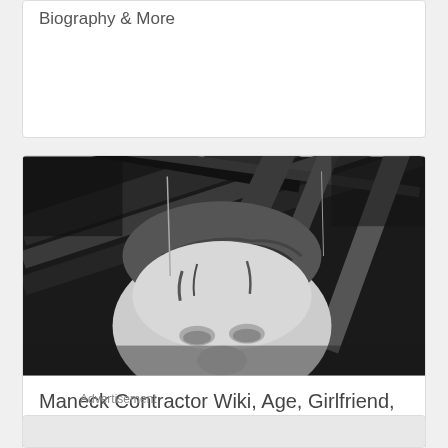Biography & More
[Figure (photo): Black and white photo of Maneck Contractor, showing a person's face and top of head from a low angle, with wooden beams/rafters visible in the background]
Maneck Contractor Wiki, Age, Girlfriend, Wife, Family, Biography & More
Advertisement